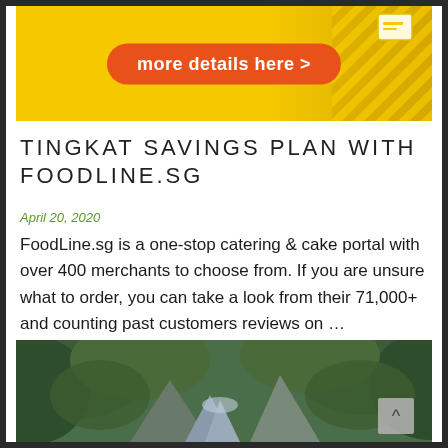[Figure (photo): Yellow banner advertisement with orange rounded button reading 'more details here >' and diagonal stripe pattern on right side]
TINGKAT SAVINGS PLAN WITH FOODLINE.SG
April 20, 2020
FoodLine.sg is a one-stop catering & cake portal with over 400 merchants to choose from. If you are unsure what to order, you can take a look from their 71,000+ and counting past customers reviews on …
[Figure (photo): Aerial photograph of a green forested canyon with a river or road running through it]